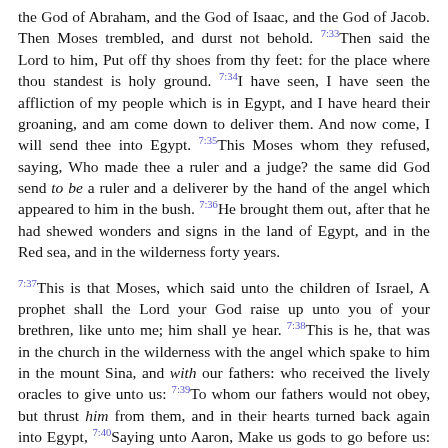the God of Abraham, and the God of Isaac, and the God of Jacob. Then Moses trembled, and durst not behold. 7:33Then said the Lord to him, Put off thy shoes from thy feet: for the place where thou standest is holy ground. 7:34I have seen, I have seen the affliction of my people which is in Egypt, and I have heard their groaning, and am come down to deliver them. And now come, I will send thee into Egypt. 7:35This Moses whom they refused, saying, Who made thee a ruler and a judge? the same did God send to be a ruler and a deliverer by the hand of the angel which appeared to him in the bush. 7:36He brought them out, after that he had shewed wonders and signs in the land of Egypt, and in the Red sea, and in the wilderness forty years.
7:37This is that Moses, which said unto the children of Israel, A prophet shall the Lord your God raise up unto you of your brethren, like unto me; him shall ye hear. 7:38This is he, that was in the church in the wilderness with the angel which spake to him in the mount Sina, and with our fathers: who received the lively oracles to give unto us: 7:39To whom our fathers would not obey, but thrust him from them, and in their hearts turned back again into Egypt, 7:40Saying unto Aaron, Make us gods to go before us: for as for this Moses, which brought us out of the land of Egypt, we wot not what is become of him. 7:41And they made a calf in those days, and offered sacrifice unto the idol, and rejoiced in the works of their own hands. 7:42Then God turned, and gave them up to